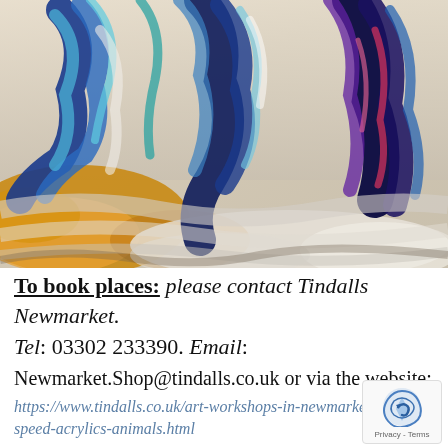[Figure (illustration): Abstract oil/acrylic painting of horses galloping, with bold blue, teal, navy, purple, and golden/orange brushstrokes on a light background, depicting motion and energy.]
To book places: please contact Tindalls Newmarket. Tel: 03302 233390. Email: Newmarket.Shop@tindalls.co.uk or via the website: https://www.tindalls.co.uk/art-workshops-in-newmarket/speed-acrylics-animals.html